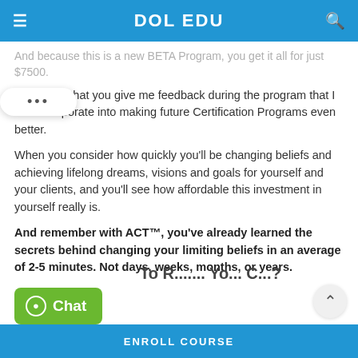DOL EDU
And because this is a new BETA Program, you get it all for just $7500.
All I ask is that you give me feedback during the program that I can incorporate into making future Certification Programs even better.
When you consider how quickly you'll be changing beliefs and achieving lifelong dreams, visions and goals for yourself and your clients, and you'll see how affordable this investment in yourself really is.
And remember with ACT™, you've already learned the secrets behind changing your limiting beliefs in an average of 2-5 minutes. Not days, weeks, months, or years.
ENROLL COURSE